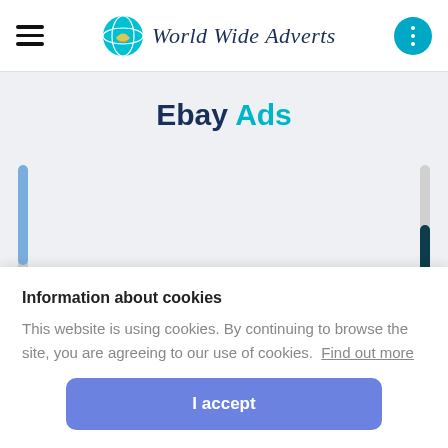World Wide Adverts
Ebay Ads
[Figure (screenshot): Partial screenshot of a webpage with scroll indicators on left and right sides, light gray background]
Information about cookies
This website is using cookies. By continuing to browse the site, you are agreeing to our use of cookies.  Find out more
I accept